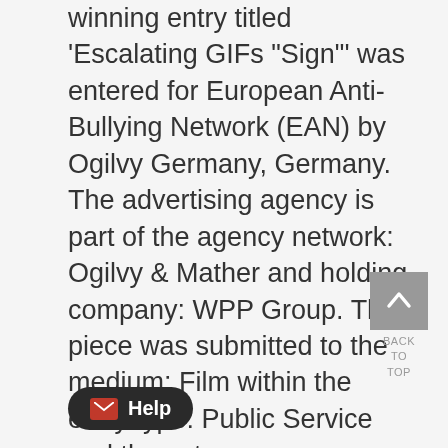winning entry titled 'Escalating GIFs "Sign"' was entered for European Anti-Bullying Network (EAN) by Ogilvy Germany, Germany. The advertising agency is part of the agency network: Ogilvy & Mather and holding company: WPP Group. The piece was submitted to the medium: Film within the entry type: Public Service and the category: Commercials (under thirty [30] seconds). It consists of 1 video and 1 image. This piece is part of a campaign called 'Escalating that consists of 3 elements.
[Figure (other): Back to top button - grey square with upward chevron arrow, labeled BACK TO TOP]
[Figure (other): Help button - dark rounded pill button with envelope icon and text 'Help']